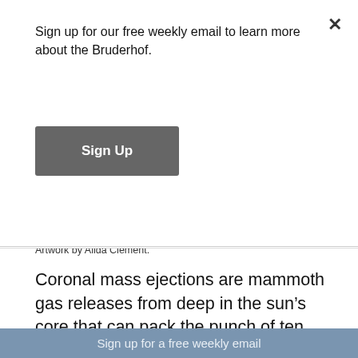Sign up for our free weekly email to learn more about the Bruderhof.
Sign Up
[Figure (illustration): Colorful abstract painting showing explosive solar imagery with reds, yellows, oranges, and dark tones — artwork by Alida Clement.]
Artwork by Alida Clement.
Coronal mass ejections are mammoth gas releases from deep in the sun's core that can pack the punch of ten billion atomic bombs. These massive magnetically charged “belches” fling billions of tons of superheated plasma, at up to seven million miles per hour, out into the cosmos. Just occasionally, these massi[ve eruptions are aimed at ]our small
Sign up for a free weekly email